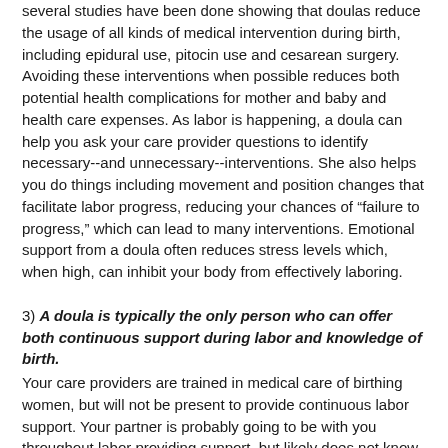several studies have been done showing that doulas reduce the usage of all kinds of medical intervention during birth, including epidural use, pitocin use and cesarean surgery. Avoiding these interventions when possible reduces both potential health complications for mother and baby and health care expenses. As labor is happening, a doula can help you ask your care provider questions to identify necessary--and unnecessary--interventions. She also helps you do things including movement and position changes that facilitate labor progress, reducing your chances of “failure to progress,” which can lead to many interventions. Emotional support from a doula often reduces stress levels which, when high, can inhibit your body from effectively laboring.
3) A doula is typically the only person who can offer both continuous support during labor and knowledge of birth.
Your care providers are trained in medical care of birthing women, but will not be present to provide continuous labor support. Your partner is probably going to be with you throughout labor providing support, but likely does not know the ins and outs of birth. However, a doula has extensive knowledge of the birth process and is present continuously throughout labor and birth providing you and your partner with support. This matters because there are many moments